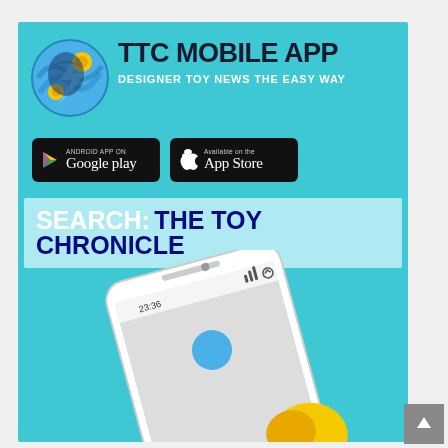[Figure (infographic): TTC Mobile App advertisement on a teal/turquoise background. Features the app logo (stylized blue sphere with yellow circles), bold text 'TTC MOBILE APP' with subtitle 'DESIGNER TOY NEWS THE EASY WAY', Google Play and App Store download buttons, a search bar reading 'SEARCH: THE TOY CHRONICLE', and a photo of a white smartphone showing the app.]